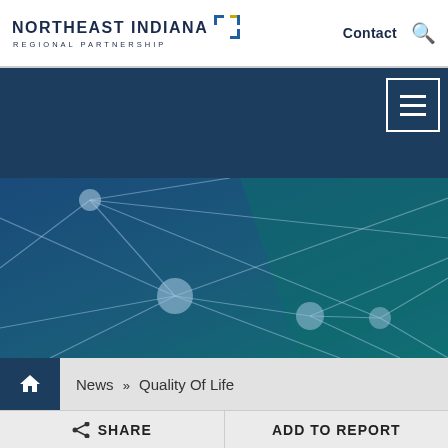NORTHEAST INDIANA REGIONAL PARTNERSHIP | Contact
[Figure (screenshot): Website screenshot showing Northeast Indiana Regional Partnership header with logo, Contact link, search icon, dark blue navigation banner with hamburger menu button, and a hero image with blue/teal network/nodes graphic]
News » Quality Of Life
SHARE | ADD TO REPORT